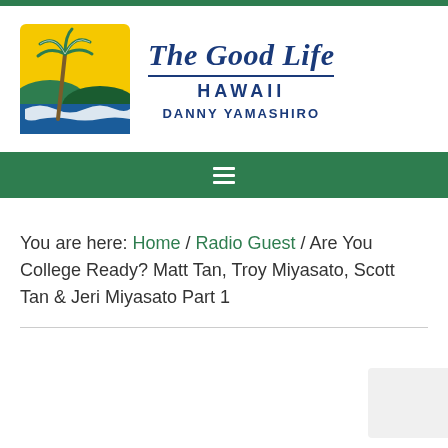[Figure (logo): The Good Life Hawaii logo with palm tree, ocean waves, yellow and green background square, and text reading 'The Good Life Hawaii Danny Yamashiro']
You are here: Home / Radio Guest / Are You College Ready? Matt Tan, Troy Miyasato, Scott Tan & Jeri Miyasato Part 1